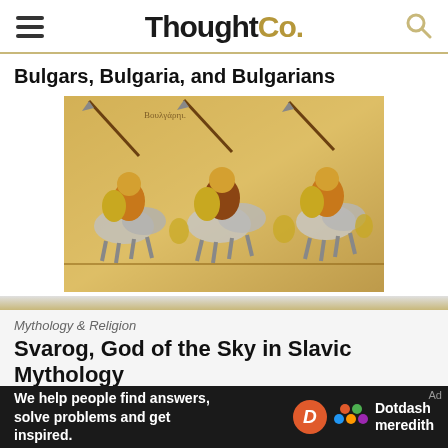ThoughtCo.
Bulgars, Bulgaria, and Bulgarians
[Figure (illustration): Medieval manuscript illustration showing Bulgarian cavalry warriors on horseback with shields, spears, and armor in golden-yellow tones]
Mythology & Religion
Svarog, God of the Sky in Slavic Mythology
[Figure (photo): Partial view of a colorful icon or painting related to Slavic mythology]
We help people find answers, solve problems and get inspired.
[Figure (logo): Dotdash Meredith logo with orange D circle and colorful dots]